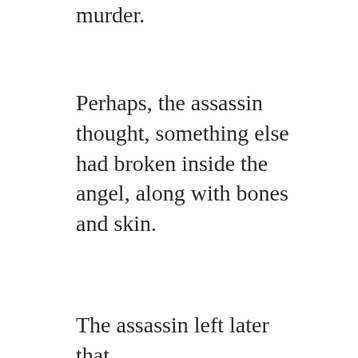premeditated murder.
Perhaps, the assassin thought, something else had broken inside the angel, along with bones and skin.
The assassin left later that